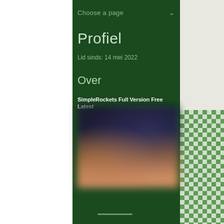Choose a page
Profiel
Lid sinds: 14 mei 2022
Over
SimpleRockets Full Version Free Latest
[Figure (photo): Blurred dark image with brown/earth tones, appears to show a dark scene with atmospheric haze]